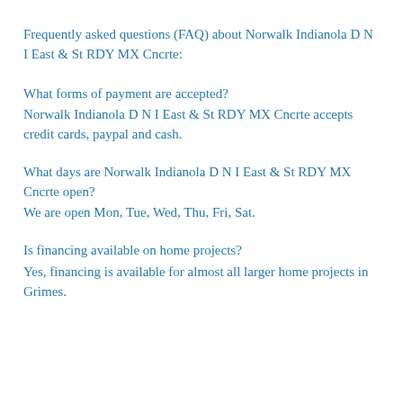Frequently asked questions (FAQ) about Norwalk Indianola D N I East & St RDY MX Cncrte:
What forms of payment are accepted?
Norwalk Indianola D N I East & St RDY MX Cncrte accepts credit cards, paypal and cash.
What days are Norwalk Indianola D N I East & St RDY MX Cncrte open?
We are open Mon, Tue, Wed, Thu, Fri, Sat.
Is financing available on home projects?
Yes, financing is available for almost all larger home projects in Grimes.